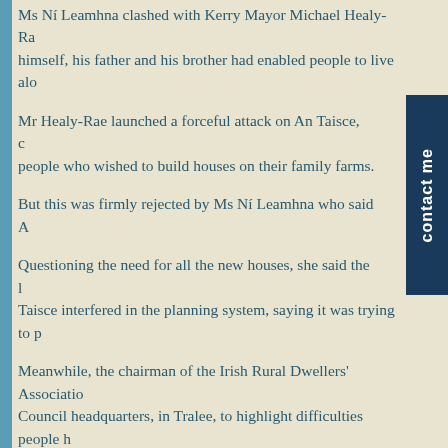Ms Ní Leamhna clashed with Kerry Mayor Michael Healy-Ra... himself, his father and his brother had enabled people to live alo...
Mr Healy-Rae launched a forceful attack on An Taisce, cl... people who wished to build houses on their family farms.
But this was firmly rejected by Ms Ní Leamhna who said A...
Questioning the need for all the new houses, she said the l... Taisce interfered in the planning system, saying it was trying to p...
Meanwhile, the chairman of the Irish Rural Dwellers' Associatio... Council headquarters, in Tralee, to highlight difficulties people h...
"We want to concentrate the minds of politicians, the county ma... Mr Doyle, from Beaufort, Co Kerry.
Donal Hickey
© Irish Examiner 27.02.08
FINALLY,SOME GOOD NEWS?-but not for taxpayers.
The Minister for the Environment(the new one,-Cu Cullen is fl...